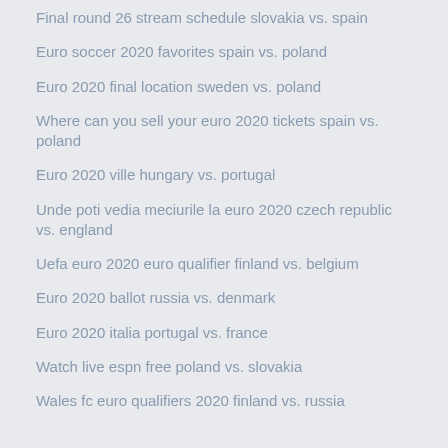Final round 26 stream schedule slovakia vs. spain
Euro soccer 2020 favorites spain vs. poland
Euro 2020 final location sweden vs. poland
Where can you sell your euro 2020 tickets spain vs. poland
Euro 2020 ville hungary vs. portugal
Unde poti vedia meciurile la euro 2020 czech republic vs. england
Uefa euro 2020 euro qualifier finland vs. belgium
Euro 2020 ballot russia vs. denmark
Euro 2020 italia portugal vs. france
Watch live espn free poland vs. slovakia
Wales fc euro qualifiers 2020 finland vs. russia